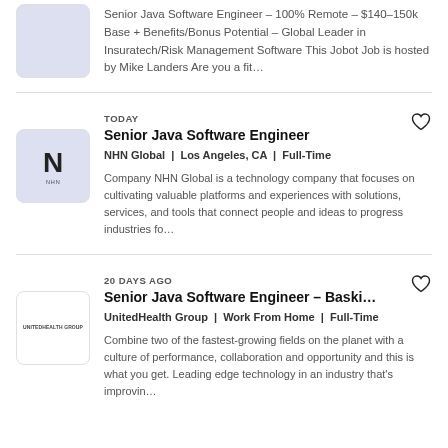Senior Java Software Engineer - 100% Remote - $140-150k Base + Benefits/Bonus Potential - Global Leader in Insuratech/Risk Management Software This Jobot Job is hosted by Mike Landers Are you a fit...
TODAY
Senior Java Software Engineer
NHN Global | Los Angeles, CA | Full-Time
Company NHN Global is a technology company that focuses on cultivating valuable platforms and experiences with solutions, services, and tools that connect people and ideas to progress industries fo...
20 DAYS AGO
Senior Java Software Engineer - Baski...
UnitedHealth Group | Work From Home | Full-Time
Combine two of the fastest-growing fields on the planet with a culture of performance, collaboration and opportunity and this is what you get. Leading edge technology in an industry that's improvin...